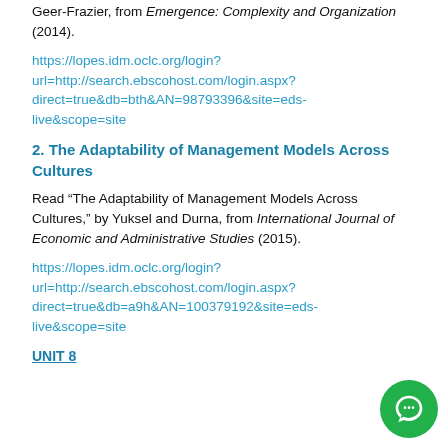Geer-Frazier, from Emergence: Complexity and Organization (2014).
https://lopes.idm.oclc.org/login?url=http://search.ebscohost.com/login.aspx?direct=true&db=bth&AN=98793396&site=eds-live&scope=site
2. The Adaptability of Management Models Across Cultures
Read “The Adaptability of Management Models Across Cultures,” by Yuksel and Durna, from International Journal of Economic and Administrative Studies (2015).
https://lopes.idm.oclc.org/login?url=http://search.ebscohost.com/login.aspx?direct=true&db=a9h&AN=100379192&site=eds-live&scope=site
UNIT 8